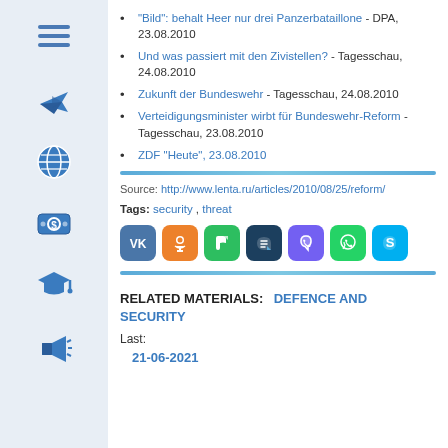"Bild": behalt Heer nur drei Panzerbataillone - DPA, 23.08.2010
Und was passiert mit den Zivistellen? - Tagesschau, 24.08.2010
Zukunft der Bundeswehr - Tagesschau, 24.08.2010
Verteidigungsminister wirbt für Bundeswehr-Reform - Tagesschau, 23.08.2010
ZDF "Heute", 23.08.2010
Source: http://www.lenta.ru/articles/2010/08/25/reform/
Tags: security , threat
[Figure (infographic): Social media sharing buttons: VK (blue), OK (orange), Evernote (green), Livejournal (dark blue/teal), Viber (purple), WhatsApp (green), Skype (blue)]
RELATED MATERIALS: DEFENCE AND SECURITY
Last:
21-06-2021